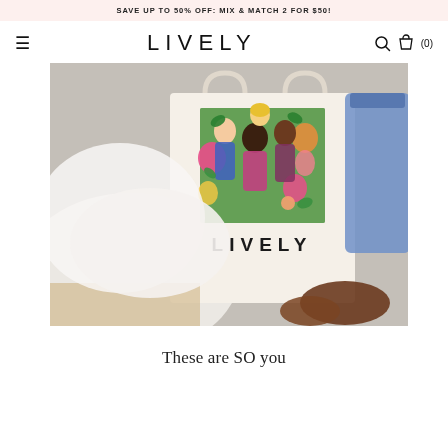SAVE UP TO 50% OFF: MIX & MATCH 2 FOR $50!
LIVELY
[Figure (photo): A white canvas tote bag with a colorful illustration of diverse women surrounded by tropical flowers and fruits, with 'LIVELY' printed below the illustration in bold black letters. The bag is shown held against a light background with denim jeans and brown shoes visible.]
These are SO you